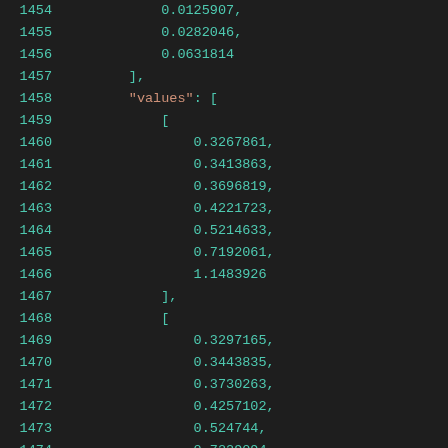1454    0.0125907,
1455    0.0282046,
1456    0.0631814
1457    ],
1458    "values": [
1459    [
1460    0.3267861,
1461    0.3413863,
1462    0.3696819,
1463    0.4221723,
1464    0.5214633,
1465    0.7192061,
1466    1.1483926
1467    ],
1468    [
1469    0.3297165,
1470    0.3443835,
1471    0.3730263,
1472    0.4257102,
1473    0.524744,
1474    0.7229094,
1475    1.1525668,